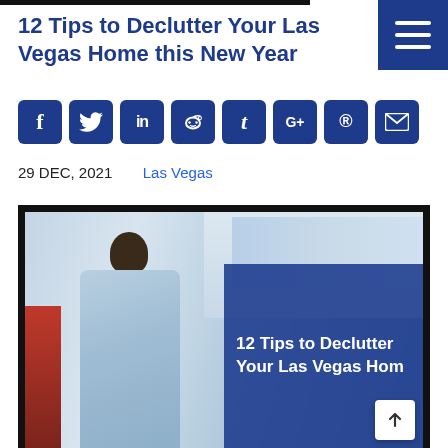12 Tips to Declutter Your Las Vegas Home this New Year
[Figure (infographic): Row of 8 social media share buttons: Facebook (f), Twitter (bird/y), LinkedIn (in), Reddit, Tumblr (t), Google+ (G+), Pinterest, Email]
29 DEC, 2021    Las Vegas
[Figure (photo): A person in a light blue shirt viewed from behind, standing in a cluttered office or workspace with various items on shelves. On the right side, a blue overlay panel displays the text '12 Tips to Declutter Your Las Vegas Hom[e]']